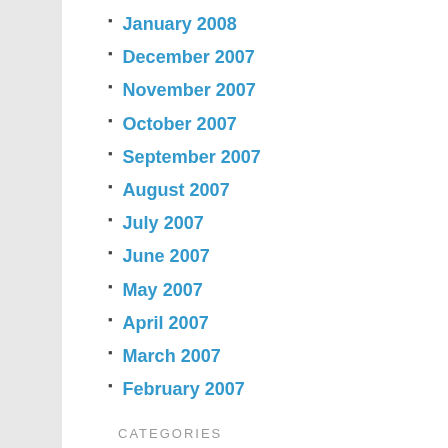January 2008
December 2007
November 2007
October 2007
September 2007
August 2007
July 2007
June 2007
May 2007
April 2007
March 2007
February 2007
CATEGORIES
doink!
Drama
Final Fantasy XI
Final Fantasy XIV
General
Life
MMOs